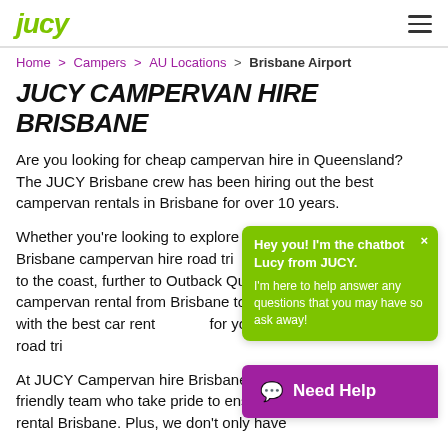jucy
Home > Campers > AU Locations > Brisbane Airport
JUCY CAMPERVAN HIRE BRISBANE
Are you looking for cheap campervan hire in Queensland? The JUCY Brisbane crew has been hiring out the best campervan rentals in Brisbane for over 10 years.
Whether you're looking to explore your backyard with a local Brisbane campervan hire road trip, head to the coast, further to Outback Queensland, or take a campervan rental from Brisbane to Cairns, we've got you covered with the best car rental options for your ultimate Queensland road trip.
[Figure (screenshot): Chatbot popup with green background: 'Hey you! I'm the chatbot Lucy from JUCY. I'm here to help answer any questions that you may have so ask away!']
[Figure (screenshot): Purple 'Need Help' button with chat icon]
At JUCY Campervan hire Brisbane, you will meet our friendly team who take pride to ensure the best campervan rental Brisbane. Plus, we don't only have